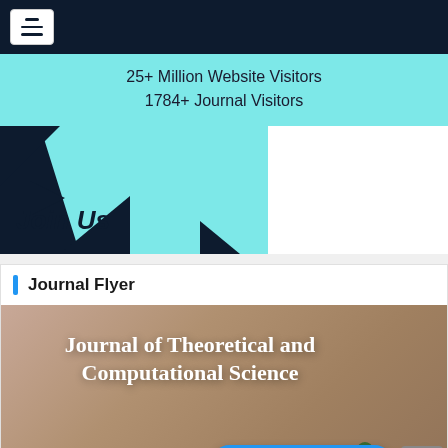[Figure (screenshot): Navigation bar with dark navy background and hamburger menu icon]
25+ Million Website Visitors
1784+ Journal Visitors
[Figure (illustration): Join Us promotional banner with dark navy background and cyan geometric triangle shapes]
Journal Flyer
[Figure (illustration): Journal of Theoretical and Computational Science flyer with mauve/beige background, white bold title text, and small plant graphic]
Leave a message